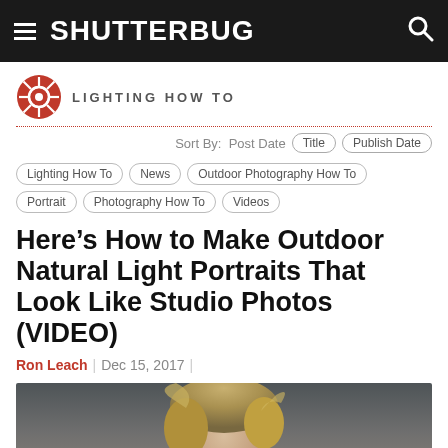SHUTTERBUG
LIGHTING HOW TO
Sort By:  Post Date  Title  Publish Date
Lighting How To
News
Outdoor Photography How To
Portrait
Photography How To
Videos
Here’s How to Make Outdoor Natural Light Portraits That Look Like Studio Photos (VIDEO)
Ron Leach | Dec 15, 2017 |
[Figure (photo): Portrait photo of a woman with blonde hair against a dark grey background, showing the top of her head]